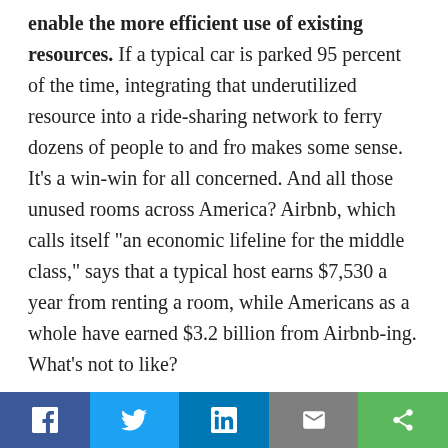enable the more efficient use of existing resources. If a typical car is parked 95 percent of the time, integrating that underutilized resource into a ride-sharing network to ferry dozens of people to and fro makes some sense. It’s a win-win for all concerned. And all those unused rooms across America? Airbnb, which calls itself “an economic lifeline for the middle class,” says that a typical host earns $7,530 a year from renting a room, while Americans as a whole have earned $3.2 billion from Airbnb-ing. What’s not to like?
Plenty, it turns out. Recent research has shown that the benefits of the sharing economy aren’t being